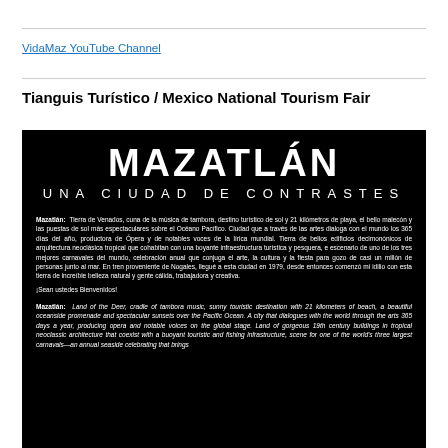VidaMaz YouTube Channel
Tianguis Turístico / Mexico National Tourism Fair
[Figure (illustration): Black background promotional image for Mazatlán. Large white bold text reads 'MAZATLÁN' with subtitle 'UNA CIUDAD DE CONTRASTES'. Below is a paragraph in Spanish and English describing Mazatlán as Tierra de Venados, cradle of tambora music, tourist destination with 21 kilometers of beach, beautiful malecón and sunsets over the Pacific Ocean. Bilingual welcome text '¡Sean ustedes Bienvenidos!' followed by English italic text describing Mazatlán as Land of the Deer.]